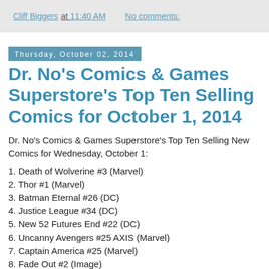Cliff Biggers at 11:40 AM   No comments:
Thursday, October 02, 2014
Dr. No's Comics & Games Superstore's Top Ten Selling Comics for October 1, 2014
Dr. No's Comics & Games Superstore's Top Ten Selling New Comics for Wednesday, October 1:
1. Death of Wolverine #3 (Marvel)
2. Thor #1 (Marvel)
3. Batman Eternal #26 (DC)
4. Justice League #34 (DC)
5. New 52 Futures End #22 (DC)
6. Uncanny Avengers #25 AXIS (Marvel)
7. Captain America #25 (Marvel)
8. Fade Out #2 (Image)
9. Gotham Academy #1 (DC)